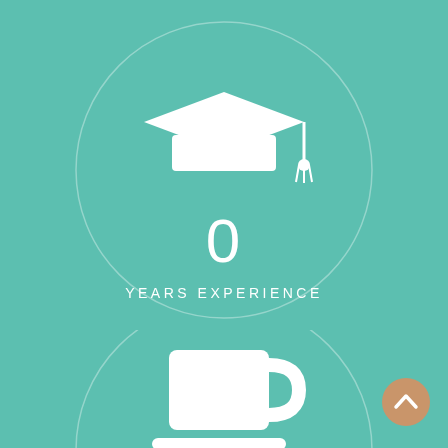[Figure (infographic): Circular infographic on teal background showing a graduation cap icon with '0' and 'YEARS EXPERIENCE' text inside a light circle outline]
[Figure (infographic): Circular infographic on teal background showing a coffee cup icon with '0' text (partially visible) inside a light circle outline]
[Figure (infographic): Small circular sandy/orange button with upward chevron arrow in bottom-right corner]